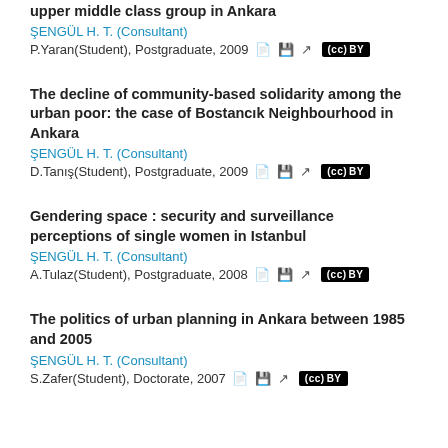upper middle class group in Ankara
ŞENGÜL H. T. (Consultant)
P.Yaran(Student), Postgraduate, 2009
The decline of community-based solidarity among the urban poor: the case of Bostancık Neighbourhood in Ankara
ŞENGÜL H. T. (Consultant)
D.Tanış(Student), Postgraduate, 2009
Gendering space : security and surveillance perceptions of single women in Istanbul
ŞENGÜL H. T. (Consultant)
A.Tulaz(Student), Postgraduate, 2008
The politics of urban planning in Ankara between 1985 and 2005
ŞENGÜL H. T. (Consultant)
S.Zafer(Student), Doctorate, 2007